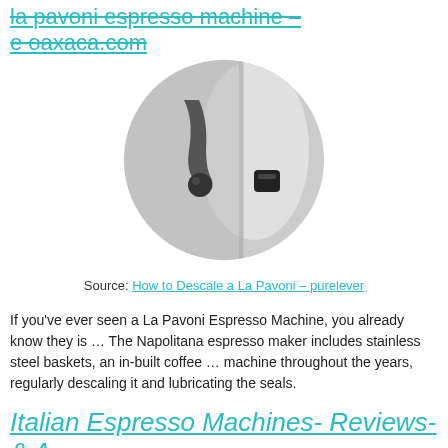la pavoni espresso machine – e oaxaca.com
[Figure (photo): Close-up circular cropped photo of a La Pavoni espresso machine component, showing metal parts and a black knob, in black and white tones]
Source: How to Descale a La Pavoni – purelever
If you've ever seen a La Pavoni Espresso Machine, you already know they is … The Napolitana espresso maker includes stainless steel baskets, an in-built coffee … machine throughout the years, regularly descaling it and lubricating the seals.
Italian Espresso Machines- Reviews-& A